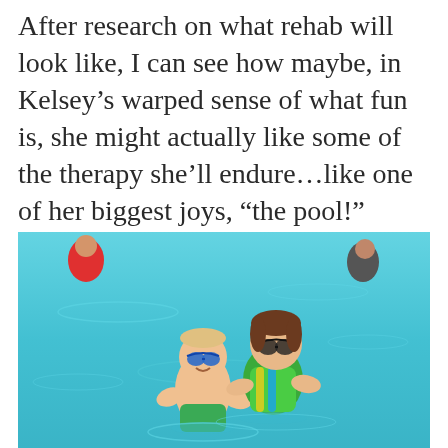After research on what rehab will look like, I can see how maybe, in Kelsey's warped sense of what fun is, she might actually like some of the therapy she'll endure...like one of her biggest joys, "the pool!"  Apparently KKI's aquatic therapy is state of the art!
[Figure (photo): Two young children wearing goggles playing in a bright blue swimming pool. A boy in green swim trunks and a girl in a colorful swimsuit are visible in the foreground, with other people in the pool in the background.]